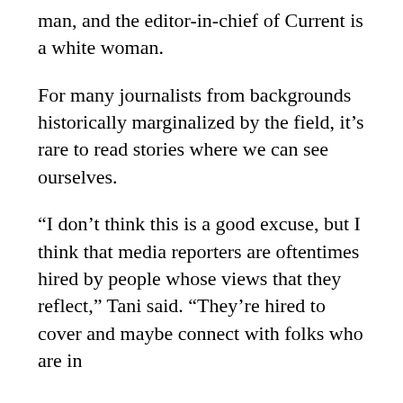man, and the editor-in-chief of Current is a white woman.
For many journalists from backgrounds historically marginalized by the field, it’s rare to read stories where we can see ourselves.
“I don’t think this is a good excuse, but I think that media reporters are oftentimes hired by people whose views that they reflect,” Tani said. “They’re hired to cover and maybe connect with folks who are in